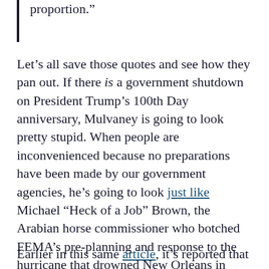consequences have been blown out of proportion.”
Let’s all save those quotes and see how they pan out. If there is a government shutdown on President Trump’s 100th Day anniversary, Mulvaney is going to look pretty stupid. When people are inconvenienced because no preparations have been made by our government agencies, he’s going to look just like Michael “Heck of a Job” Brown, the Arabian horse commissioner who botched FEMA’s pre-planning and response to the hurricane that drowned New Orleans in 2005.
Earlier in this same article, it’s reported that